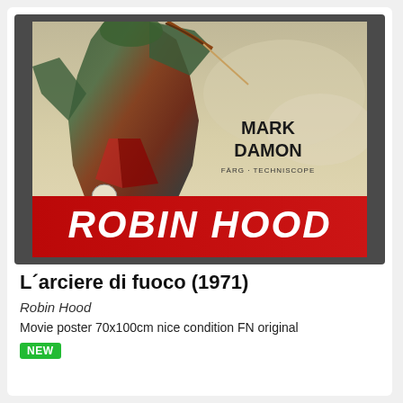[Figure (photo): Movie poster for Robin Hood (1971) / L'arciere di fuoco, Swedish release. Shows a dynamic action figure of Robin Hood leaping forward with a bow, wearing green and red outfit. Bold red 'ROBIN HOOD' title at bottom. Text 'MARK DAMON' and 'FÄRG · TECHNISCOPE' on right side. Watermark: www.nordicposters.com]
L´arciere di fuoco (1971)
Robin Hood
Movie poster 70x100cm nice condition FN original
NEW